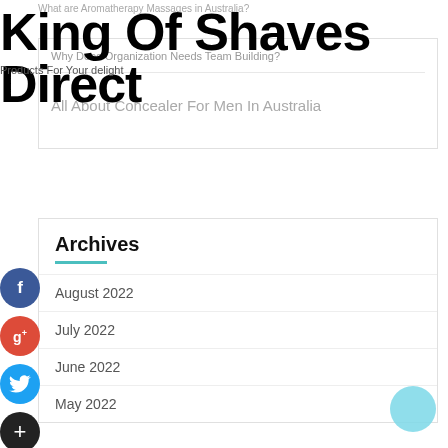What are Aromatherapy Massages in Australia?
King Of Shaves Direct
Products For Your delight
Why Does Organization Needs Team Building?
All About Concealer For Men In Australia
Archives
August 2022
July 2022
June 2022
May 2022